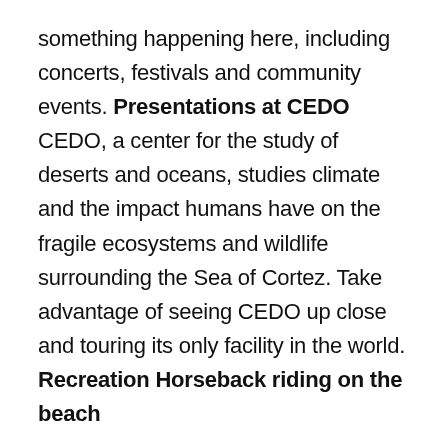something happening here, including concerts, festivals and community events. Presentations at CEDO CEDO, a center for the study of deserts and oceans, studies climate and the impact humans have on the fragile ecosystems and wildlife surrounding the Sea of Cortez. Take advantage of seeing CEDO up close and touring its only facility in the world. Recreation Horseback riding on the beach Because of its location on the Sea of Cortez, Puerto Peñasco has one of the world's most beautiful beaches.